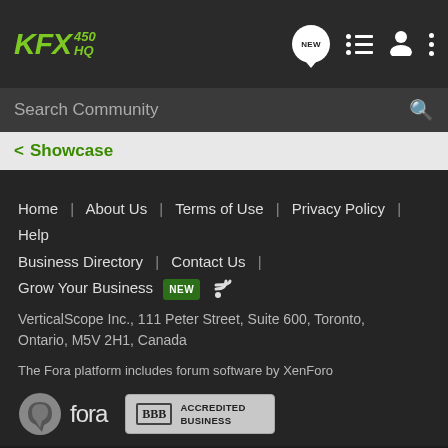KFX 450 HQ
Search Community
< Showcase
Home | About Us | Terms of Use | Privacy Policy | Help | Business Directory | Contact Us | Grow Your Business NEW (RSS)
VerticalScope Inc., 111 Peter Street, Suite 600, Toronto, Ontario, M5V 2H1, Canada
The Fora platform includes forum software by XenForo
[Figure (logo): Fora logo with chat bubble icon and 'fora' text]
[Figure (logo): BBB Accredited Business badge]